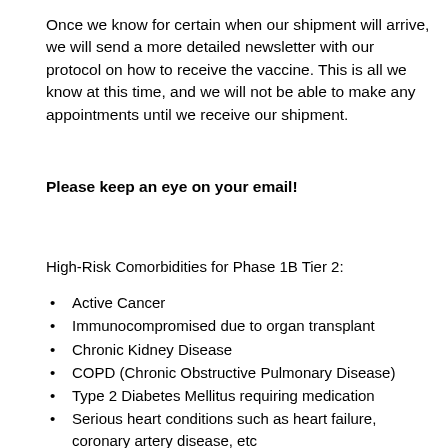Once we know for certain when our shipment will arrive, we will send a more detailed newsletter with our protocol on how to receive the vaccine. This is all we know at this time, and we will not be able to make any appointments until we receive our shipment.
Please keep an eye on your email!
High-Risk Comorbidities for Phase 1B Tier 2:
Active Cancer
Immunocompromised due to organ transplant
Chronic Kidney Disease
COPD (Chronic Obstructive Pulmonary Disease)
Type 2 Diabetes Mellitus requiring medication
Serious heart conditions such as heart failure, coronary artery disease, etc
Severe Obesity: BMI >40 (updated since last listing)
Pregnancy
Sickle Cell Disease
Intellectual and/or developmental disabilities such as Down Syndrome